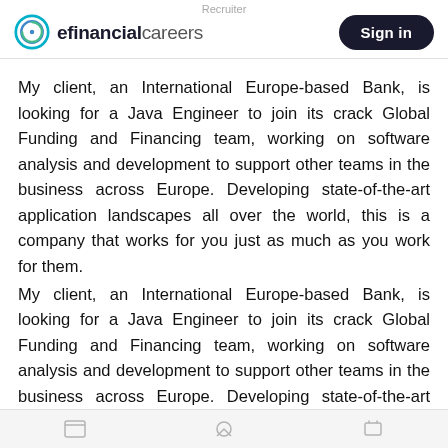Recruiter
[Figure (logo): eFinancialCareers logo with circular blue/teal icon and text 'efinancial careers']
My client, an International Europe-based Bank, is looking for a Java Engineer to join its crack Global Funding and Financing team, working on software analysis and development to support other teams in the business across Europe. Developing state-of-the-art application landscapes all over the world, this is a company that works for you just as much as you work for them.
My client, an International Europe-based Bank, is looking for a Java Engineer to join its crack Global Funding and Financing team, working on software analysis and development to support other teams in the business across Europe. Developing state-of-the-art application landscapes all over the world, this is a company that works for you just as much as you work for them.